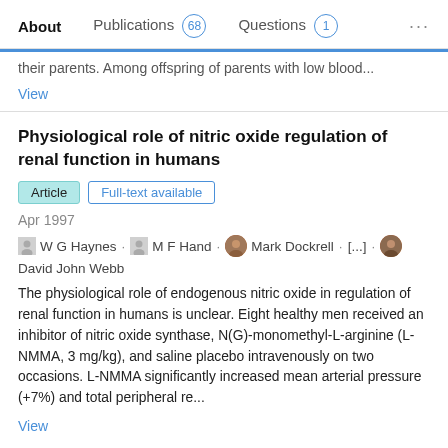About  Publications 68  Questions 1  ...
their parents. Among offspring of parents with low blood...
View
Physiological role of nitric oxide regulation of renal function in humans
Article  Full-text available
Apr 1997
W G Haynes · M F Hand · Mark Dockrell · [...] · David John Webb
The physiological role of endogenous nitric oxide in regulation of renal function in humans is unclear. Eight healthy men received an inhibitor of nitric oxide synthase, N(G)-monomethyl-L-arginine (L-NMMA, 3 mg/kg), and saline placebo intravenously on two occasions. L-NMMA significantly increased mean arterial pressure (+7%) and total peripheral re...
View